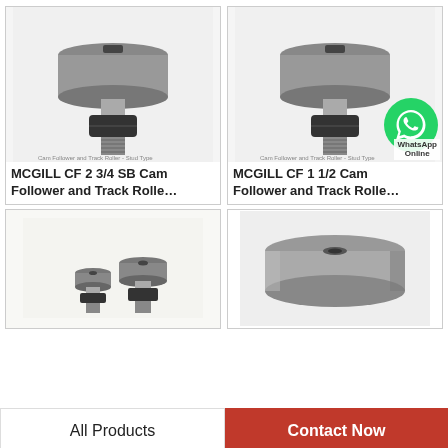[Figure (photo): MCGILL CF 2 3/4 SB Cam Follower and Track Roller - Stud Type, metallic cam follower with threaded stud and hex nut]
MCGILL CF 2 3/4 SB Cam Follower and Track Rolle…
[Figure (photo): MCGILL CF 1 1/2 Cam Follower and Track Roller - Stud Type, metallic cam follower with threaded stud and hex nut, with WhatsApp Online badge overlay]
MCGILL CF 1 1/2 Cam Follower and Track Rolle…
[Figure (photo): Partial view of two small cam followers, stud type]
[Figure (photo): Single large cam follower - flat disc type, no stud, metallic]
All Products
Contact Now